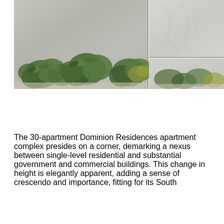[Figure (photo): Architectural photography showing a concrete wall with green leafy plants/shrubs in the foreground, and a side panel showing marble or light stone tile panels. The main photo occupies the left portion and the side inset shows the stone/marble wall detail.]
The 30-apartment Dominion Residences apartment complex presides on a corner, demarking a nexus between single-level residential and substantial government and commercial buildings. This change in height is elegantly apparent, adding a sense of crescendo and importance, fitting for its South